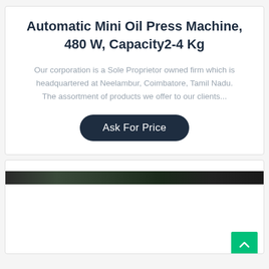Automatic Mini Oil Press Machine, 480 W, Capacity2-4 Kg
Our corporation is a Sole Proprietor owned firm which is headquartered at Neelambur, Coimbatore, Tamil Nadu. The assortment of products we offer to our clients...
[Figure (other): Ask For Price button (dark navy rounded button with white text)]
[Figure (photo): Partial image of a machine, showing a dark horizontal strip at the top of the second card section]